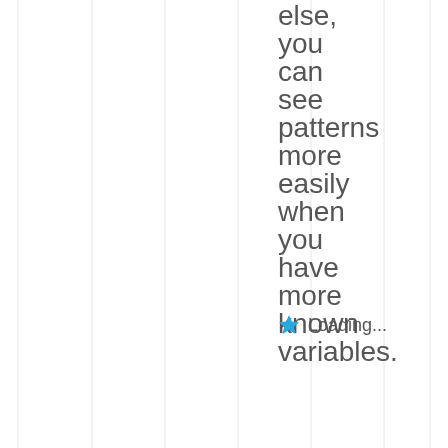else, you can see patterns more easily when you have more known variables.
Loading...